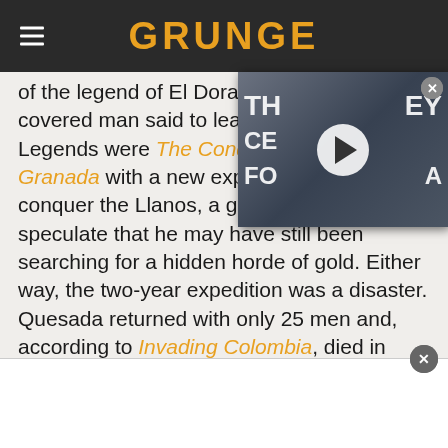GRUNGE
of the legend of El Dorado, the gold-covered man said to lead the Muisca. Legends were The Conquest of New Granada with a new expedition of 500 m conquer the Llanos, a grasslan speculate that he may have still been searching for a hidden horde of gold. Either way, the two-year expedition was a disaster. Quesada returned with only 25 men and, according to Invading Colombia, died in 1579.
[Figure (screenshot): Video thumbnail overlay showing a man at what appears to be a media event, with large white text letters visible in the background. A play button circle is centered on the image. A close (X) button is in the top right corner.]